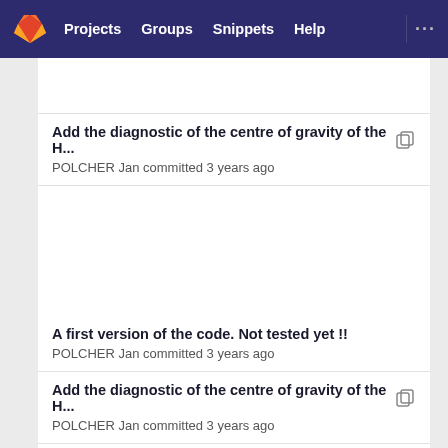Projects  Groups  Snippets  Help
Add the diagnostic of the centre of gravity of the H...
POLCHER Jan committed 3 years ago
A first version of the code. Not tested yet !!
POLCHER Jan committed 3 years ago
Add the diagnostic of the centre of gravity of the H...
POLCHER Jan committed 3 years ago